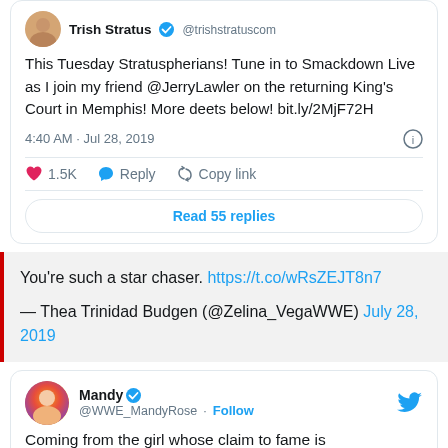[Figure (screenshot): Tweet from Trish Stratus (@trishstratuscom) with text: 'This Tuesday Stratuspherians! Tune in to Smackdown Live as I join my friend @JerryLawler on the returning King's Court in Memphis! More deets below! bit.ly/2MjF72H'. Posted 4:40 AM · Jul 28, 2019. 1.5K likes. Reply and Copy link actions. Read 55 replies button.]
You’re such a star chaser. https://t.co/wRsZEJT8n7
— Thea Trinidad Budgen (@Zelina_VegaWWE) July 28, 2019
[Figure (screenshot): Tweet from Mandy (@WWE_MandyRose) with Follow button and Twitter bird logo. Tweet text begins: 'Coming from the girl whose claim to fame is']